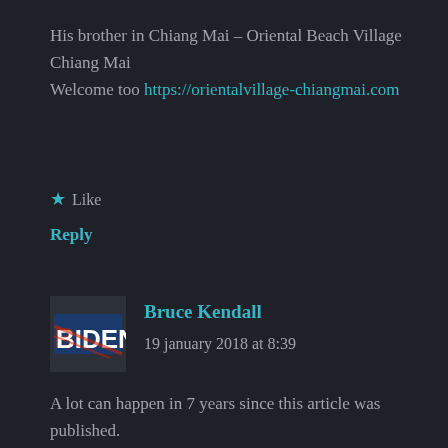His brother in Chiang Mai – Oriental Beach Village Chiang Mai
Welcome too https://orientalvillage-chiangmai.com
★ Like
Reply
[Figure (photo): Avatar image showing a Biden logo with stylized text and hand print in red and blue]
Bruce Kendall
19 january 2018 at 8:39
A lot can happen in 7 years since this article was published.
In November 2017 the Naturist Association Thailand welcomed
Phuea Naturist Village to its association